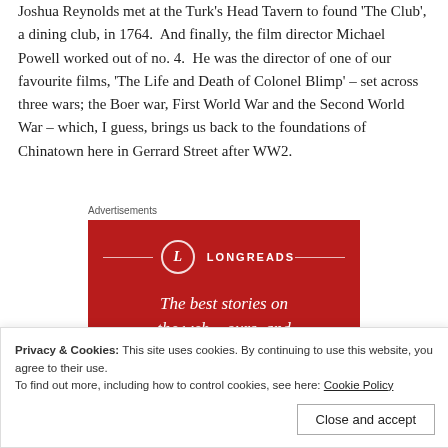Joshua Reynolds met at the Turk's Head Tavern to found 'The Club', a dining club, in 1764. And finally, the film director Michael Powell worked out of no. 4. He was the director of one of our favourite films, 'The Life and Death of Colonel Blimp' – set across three wars; the Boer war, First World War and the Second World War – which, I guess, brings us back to the foundations of Chinatown here in Gerrard Street after WW2.
Advertisements
[Figure (other): Longreads advertisement banner with red background showing the Longreads logo (circle with L) and tagline 'The best stories on the web – ours, and']
Privacy & Cookies: This site uses cookies. By continuing to use this website, you agree to their use.
To find out more, including how to control cookies, see here: Cookie Policy